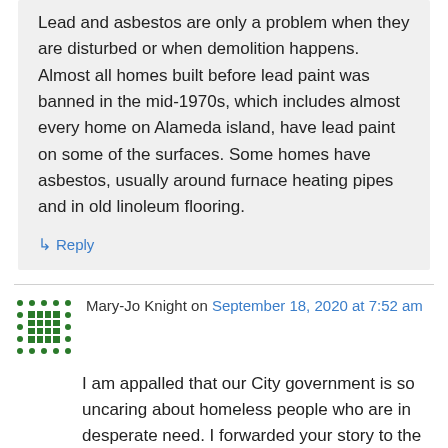Lead and asbestos are only a problem when they are disturbed or when demolition happens. Almost all homes built before lead paint was banned in the mid-1970s, which includes almost every home on Alameda island, have lead paint on some of the surfaces. Some homes have asbestos, usually around furnace heating pipes and in old linoleum flooring.
↳ Reply
Mary-Jo Knight on September 18, 2020 at 7:52 am
I am appalled that our City government is so uncaring about homeless people who are in desperate need. I forwarded your story to the